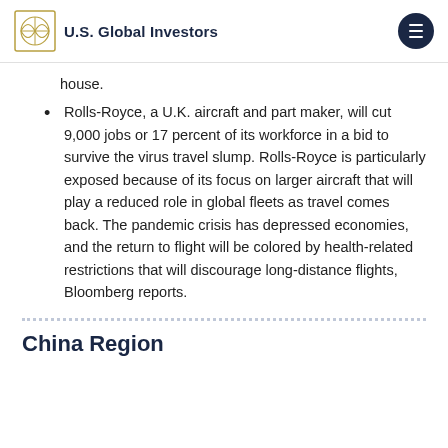U.S. Global Investors
house.
Rolls-Royce, a U.K. aircraft and part maker, will cut 9,000 jobs or 17 percent of its workforce in a bid to survive the virus travel slump. Rolls-Royce is particularly exposed because of its focus on larger aircraft that will play a reduced role in global fleets as travel comes back. The pandemic crisis has depressed economies, and the return to flight will be colored by health-related restrictions that will discourage long-distance flights, Bloomberg reports.
China Region